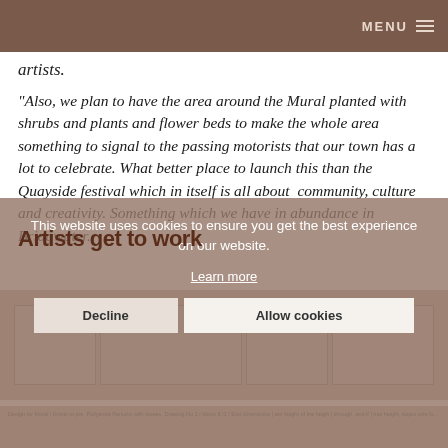MENU
artists.
“Also, we plan to have the area around the Mural planted with shrubs and plants and flower beds to make the whole area something to signal to the passing motorists that our town has a lot to celebrate. What better place to launch this than the Quayside festival which in itself is all about  community, culture and creativity. Something which we have in abundance in Bridgwater.
Artists get to work
[Figure (photo): A horizontal strip showing sketch or pencil drawings of a mural design, depicting a town scene with figures and landscape elements.]
Design for Mural | Artists to pre, Pollyanna Parsons with stones, Drawing No 1 | Mono 8 /1 | End dimensions | am height of the heigh …
This website uses cookies to ensure you get the best experience on our website.
Learn more
Decline
Allow cookies